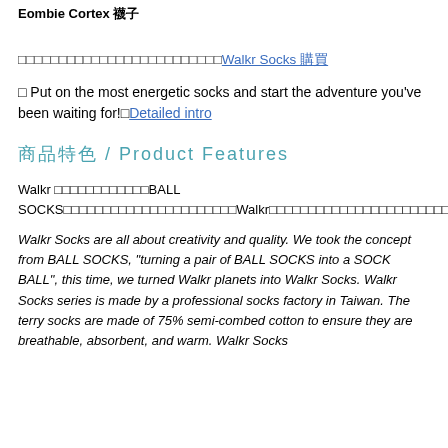Eombie Cortex 襪子
□□□□□□□□□□□□□□□□□□□□□□□□□Walkr Socks 購買
□ Put on the most energetic socks and start the adventure you've been waiting for!□Detailed intro
商品特色 / Product Features
Walkr □□□□□□□□□□□□BALL SOCKS□□□□□□□□□□□□□□□□□□□□□□Walkr□□□ □□□□□□□□□□□□□□□□□□□□□□Walkr□□□□□□□□□□□□Walkr□□□□□□□□□□□□□□ 75%□□□□□□□□□□□□□□□□□□□□□□□□□□□□□□□□□□Fourdesire□□□□□□□□□□□□ □□□□□□□□□□□□□Walkr□□□□□□□□□□□□□□□□□□□□□□□□□□□□□□□□□□□□□□□□□□ □□
Walkr Socks are all about creativity and quality. We took the concept from BALL SOCKS, "turning a pair of BALL SOCKS into a SOCK BALL", this time, we turned Walkr planets into Walkr Socks. Walkr Socks series is made by a professional socks factory in Taiwan. The terry socks are made of 75% semi-combed cotton to ensure they are breathable, absorbent, and warm. Walkr Socks